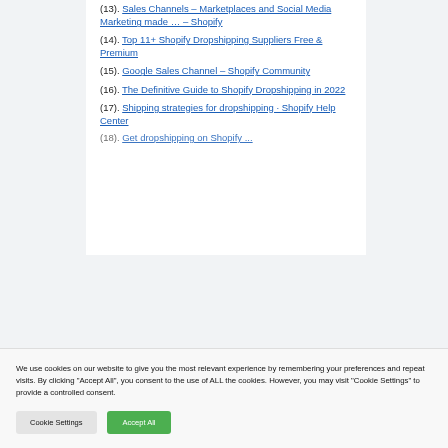(13). Sales Channels – Marketplaces and Social Media Marketing made … – Shopify
(14). Top 11+ Shopify Dropshipping Suppliers Free & Premium
(15). Google Sales Channel – Shopify Community
(16). The Definitive Guide to Shopify Dropshipping in 2022
(17). Shipping strategies for dropshipping · Shopify Help Center
We use cookies on our website to give you the most relevant experience by remembering your preferences and repeat visits. By clicking "Accept All", you consent to the use of ALL the cookies. However, you may visit "Cookie Settings" to provide a controlled consent.